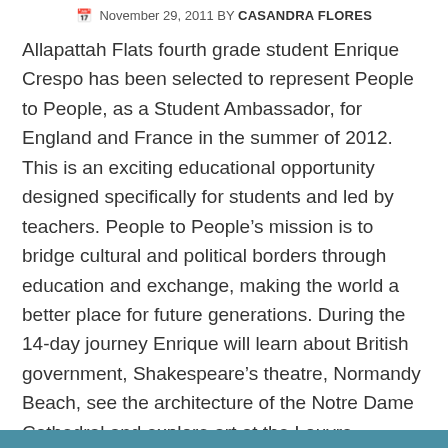November 29, 2011 BY CASANDRA FLORES
Allapattah Flats fourth grade student Enrique Crespo has been selected to represent People to People, as a Student Ambassador, for England and France in the summer of 2012.  This is an exciting educational opportunity designed specifically for students and led by teachers. People to People’s mission is to bridge cultural and political borders through education and exchange, making the world a better place for future generations. During the 14-day journey Enrique will learn about British government, Shakespeare’s theatre, Normandy Beach, see the architecture of the Notre Dame Cathedral and explore art at the Louvre Museum. Enrique and his parents are grateful for his